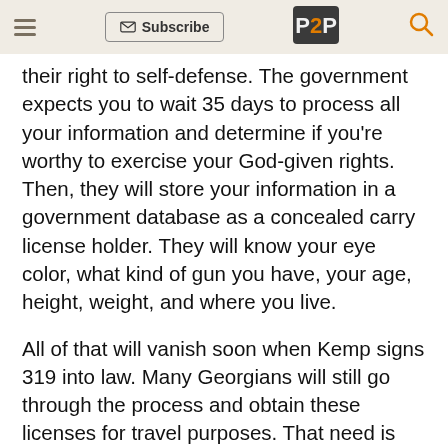Subscribe | P2P
their right to self-defense. The government expects you to wait 35 days to process all your information and determine if you're worthy to exercise your God-given rights. Then, they will store your information in a government database as a concealed carry license holder. They will know your eye color, what kind of gun you have, your age, height, weight, and where you live.
All of that will vanish soon when Kemp signs 319 into law. Many Georgians will still go through the process and obtain these licenses for travel purposes. That need is thankfully